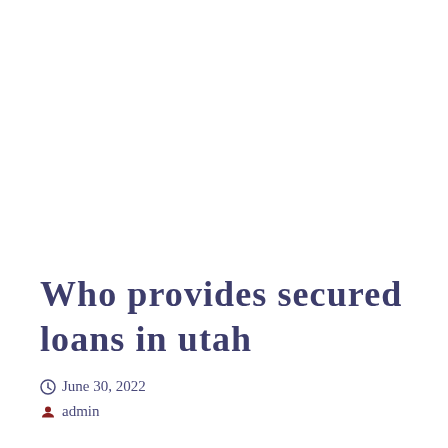Who provides secured loans in utah
June 30, 2022
admin